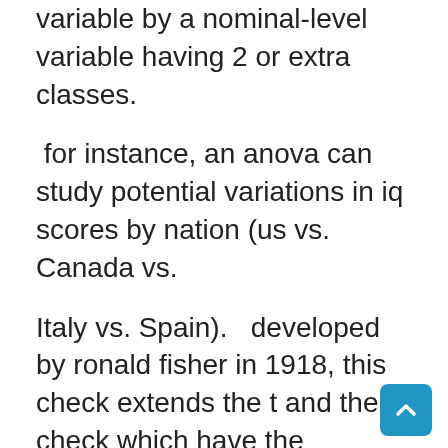variable by a nominal-level variable having 2 or extra classes.
for instance, an anova can study potential variations in iq scores by nation (us vs. Canada vs.
Italy vs. Spain).  developed by ronald fisher in 1918, this check extends the t and the z check which have the drawback of solely permitting the nominal degree variable to have two classes.
this check can also be known as the fisher evaluation of variance. The use of anova is determined by the analysis design.
Commonly, anovas are utilized in 3 ways: one-way anova, two-way anova, and n-way anova.